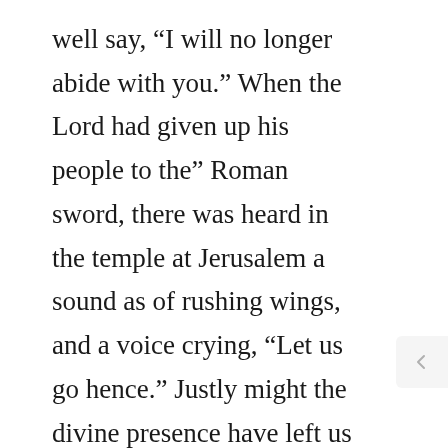well say, “I will no longer abide with you.” When the Lord had given up his people to the” Roman sword, there was heard in the temple at Jerusalem a sound as of rushing wings, and a voice crying, “Let us go hence.” Justly might the divine presence have left us also because of our sins. It is matchless love which has caused the Holy Spirit to bear with our ill manners, and bear our vexatious behaviour. He stays though sin intrudes into his temple! He makes his royal abode where evil assails his palace! Alas, that a heart where the